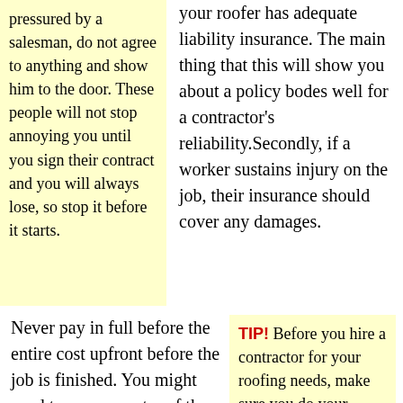pressured by a salesman, do not agree to anything and show him to the door. These people will not stop annoying you until you sign their contract and you will always lose, so stop it before it starts.
your roofer has adequate liability insurance. The main thing that this will show you about a policy bodes well for a contractor's reliability.Secondly, if a worker sustains injury on the job, their insurance should cover any damages.
Never pay in full before the entire cost upfront before the job is finished. You might need to pay a quarter of the full price in order for the job to begin, but see if
TIP! Before you hire a contractor for your roofing needs, make sure you do your homework. Don't hire the cheapest or first